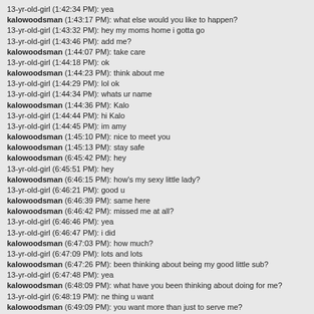13-yr-old-girl (1:42:34 PM): yea
kalowoodsman (1:43:17 PM): what else would you like to happen?
13-yr-old-girl (1:43:32 PM): hey my moms home i gotta go
13-yr-old-girl (1:43:46 PM): add me?
kalowoodsman (1:44:07 PM): take care
13-yr-old-girl (1:44:18 PM): ok
kalowoodsman (1:44:23 PM): think about me
13-yr-old-girl (1:44:29 PM): lol ok
13-yr-old-girl (1:44:34 PM): whats ur name
kalowoodsman (1:44:36 PM): Kalo
13-yr-old-girl (1:44:44 PM): hi Kalo
13-yr-old-girl (1:44:45 PM): im amy
kalowoodsman (1:45:10 PM): nice to meet you
kalowoodsman (1:45:13 PM): stay safe
kalowoodsman (6:45:42 PM): hey
13-yr-old-girl (6:45:51 PM): hey
kalowoodsman (6:46:15 PM): how's my sexy little lady?
13-yr-old-girl (6:46:21 PM): good u
kalowoodsman (6:46:39 PM): same here
kalowoodsman (6:46:42 PM): missed me at all?
13-yr-old-girl (6:46:46 PM): yea
13-yr-old-girl (6:46:47 PM): i did
kalowoodsman (6:47:03 PM): how much?
13-yr-old-girl (6:47:09 PM): lots and lots
kalowoodsman (6:47:26 PM): been thinking about being my good little sub?
13-yr-old-girl (6:47:48 PM): yea
kalowoodsman (6:48:09 PM): what have you been thinking about doing for me?
13-yr-old-girl (6:48:19 PM): ne thing u want
kalowoodsman (6:49:09 PM): you want more than just to serve me?
13-yr-old-girl (6:49:41 PM): what u mean
kalowoodsman (6:50:22 PM): do you want more than just something sexual with me?
13-yr-old-girl (6:50:47 PM): mebee
kalowoodsman (6:51:12 PM): would you serve me for as long as I see fit?
13-yr-old-girl (6:51:29 PM): yea
kalowoodsman (6:51:55 PM): can I take your cherry in your bed?
13-yr-old-girl (6:52:06 PM): lol if u come to calif
kalowoodsman (6:52:25 PM): but I mean can we make that happen?
13-yr-old-girl (6:52:29 PM): yea